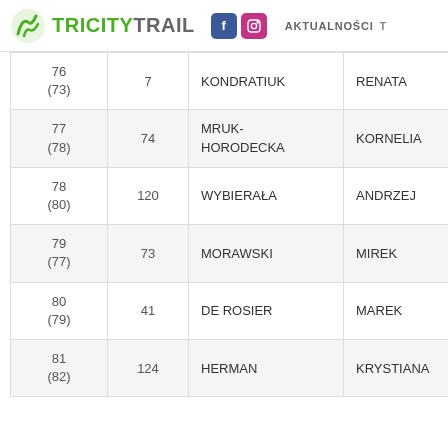TRI CITY TRAIL — AKTUALNOŚCI
| Rank | Bib | Last Name | First Name | Sex |
| --- | --- | --- | --- | --- |
| 76
(73) | 7 | KONDRATIUK | RENATA | K |
| 77
(78) | 74 | MRUK-HORODECKA | KORNELIA | K |
| 78
(80) | 120 | WYBIERAŁA | ANDRZEJ | M |
| 79
(77) | 73 | MORAWSKI | MIREK | M |
| 80
(79) | 41 | DE ROSIER | MAREK | M |
| 81
(82) | 124 | HERMAN | KRYSTIANA | K |